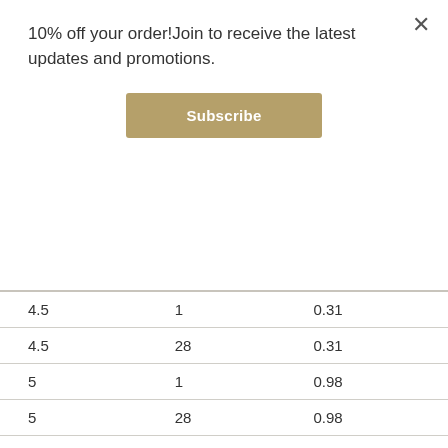10% off your order!Join to receive the latest updates and promotions.
Subscribe
| 4.5 | 1 | 0.31 |
| 4.5 | 28 | 0.31 |
| 5 | 1 | 0.98 |
| 5 | 28 | 0.98 |
| 5 | 1 | 0.31 |
| 5 | 28 | 0.31 |
| 5.5 | 1 | 0.98 |
| 5.5 | 28 | 0.98 |